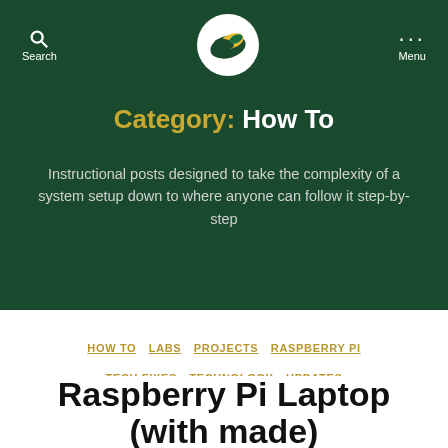Search | [Logo] | Menu
Category: How To
Instructional posts designed to take the complexity of a system setup down to where anyone can follow it step-by-step
HOW TO  LABS  PROJECTS  RASPBERRY PI  TECH FIXES  TECHNOLOGY  UPDATES
Raspberry Pi Laptop (with made)